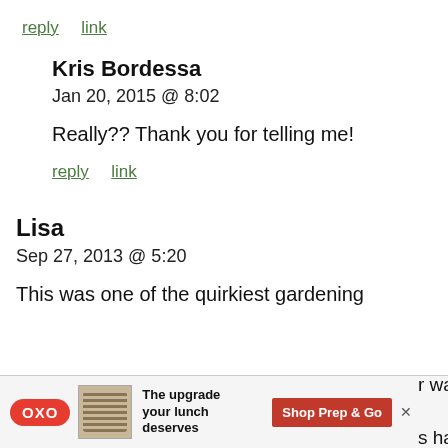reply  link
Kris Bordessa
Jan 20, 2015 @ 8:02
Really?? Thank you for telling me!
reply  link
Lisa
Sep 27, 2013 @ 5:20
This was one of the quirkiest gardening
[Figure (other): Advertisement banner for OXO product: Shop Prep & Go with partial overlapping text 'r wanders' and 's hard to']